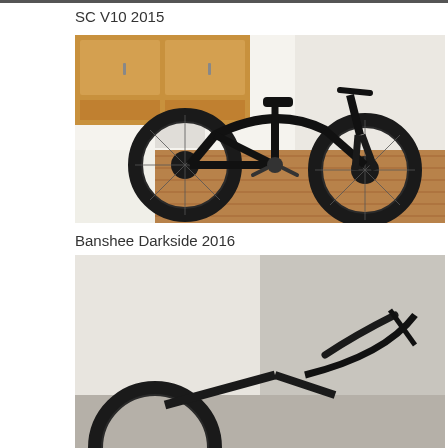SC V10 2015
[Figure (photo): A black full-suspension mountain bike (Santa Cruz V10 2015) photographed indoors on hardwood floor with kitchen cabinets in background]
Banshee Darkside 2016
[Figure (photo): Partial view of a dark mountain bike (Banshee Darkside 2016) photographed indoors]